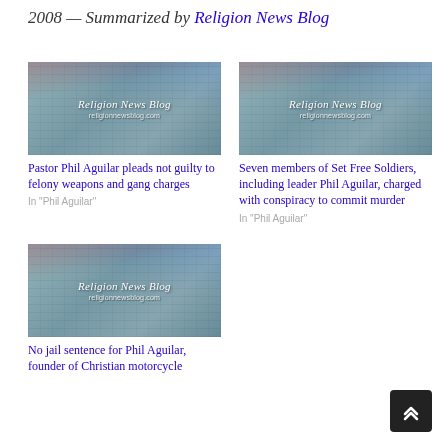2008 — Summarized by Religion News Blog
[Figure (photo): Religion News Blog placeholder image showing newspapers]
Pastor Phil Aguilar pleads not guilty to felony weapons and gang charges
In “Phil Aguilar”
[Figure (photo): Religion News Blog placeholder image showing newspapers]
Seven members of Set Free Soldiers, including leader Phil Aguilar, charged with conspiracy to commit murder
In “Phil Aguilar”
[Figure (photo): Religion News Blog placeholder image showing newspapers]
No jail sentence for Phil Aguilar, founder of Christian motorcycle